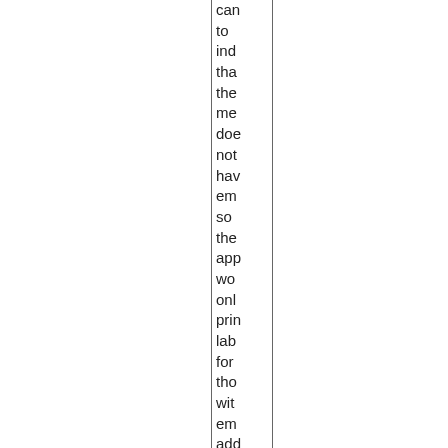can to ind tha the me doe not hav em so the app wo onl prin lab for tho wit em add Als If